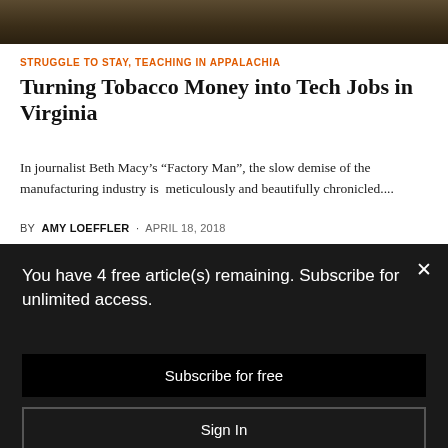[Figure (photo): Dark outdoor photo, likely agricultural/forest scene in Appalachia]
STRUGGLE TO STAY, TEACHING IN APPALACHIA
Turning Tobacco Money into Tech Jobs in Virginia
In journalist Beth Macy's “Factory Man”, the slow demise of the manufacturing industry is  meticulously and beautifully chronicled....
BY  AMY LOEFFLER  ·  APRIL 18, 2018
You have 4 free article(s) remaining. Subscribe for unlimited access.
Subscribe for free
Sign In